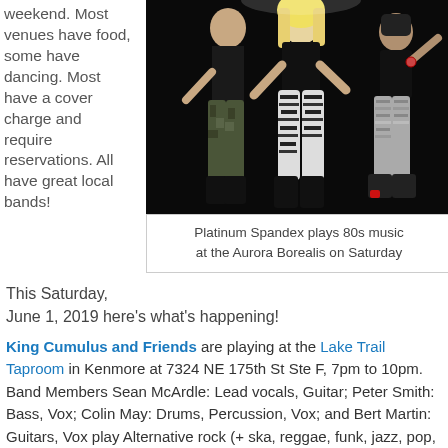weekend. Most venues have food, some have dancing. Most have a cover charge and require reservations. All have great local bands!
[Figure (photo): Three band members jumping/posing energetically against a black background, wearing rock-style outfits including zebra-print pants, camo pants, and silver leggings.]
Platinum Spandex plays 80s music at the Aurora Borealis on Saturday
This Saturday, June 1, 2019 here's what's happening!
King Cumulus and Friends are playing at the Lake Trail Taproom in Kenmore at 7324 NE 175th St Ste F, 7pm to 10pm. Band Members Sean McArdle: Lead vocals, Guitar; Peter Smith: Bass, Vox; Colin May: Drums, Percussion, Vox; and Bert Martin: Guitars, Vox play Alternative rock (+ ska, reggae, funk, jazz, pop, latin, whatever). 425.424.2337